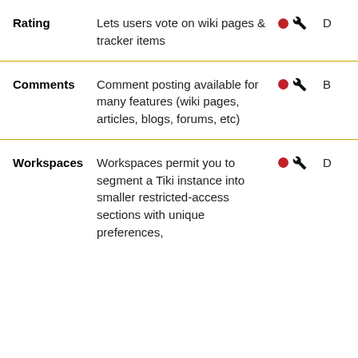| Feature | Description | Icons | Tier |
| --- | --- | --- | --- |
| Rating | Lets users vote on wiki pages & tracker items | ● 🔧 | D |
| Comments | Comment posting available for many features (wiki pages, articles, blogs, forums, etc) | ● 🔧 | B |
| Workspaces | Workspaces permit you to segment a Tiki instance into smaller restricted-access sections with unique preferences, | ● 🔧 | D |